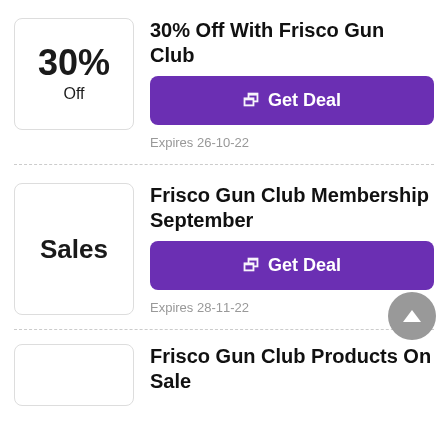[Figure (infographic): Coupon badge showing 30% Off]
30% Off With Frisco Gun Club
[Figure (infographic): Purple Get Deal button with external link icon]
Expires 26-10-22
[Figure (infographic): Coupon badge showing Sales]
Frisco Gun Club Membership September
[Figure (infographic): Purple Get Deal button with external link icon]
Expires 28-11-22
Frisco Gun Club Products On Sale